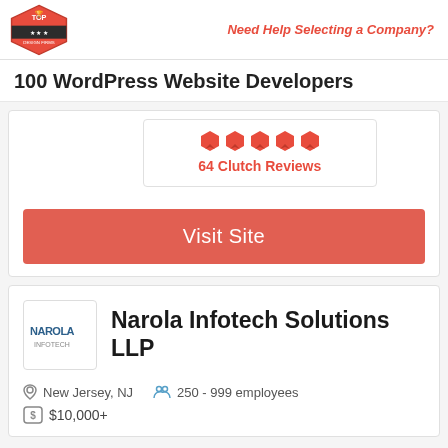Top Design Firms | Need Help Selecting a Company?
100 WordPress Website Developers
64 Clutch Reviews
Visit Site
Narola Infotech Solutions LLP
New Jersey, NJ   250 - 999 employees
$10,000+